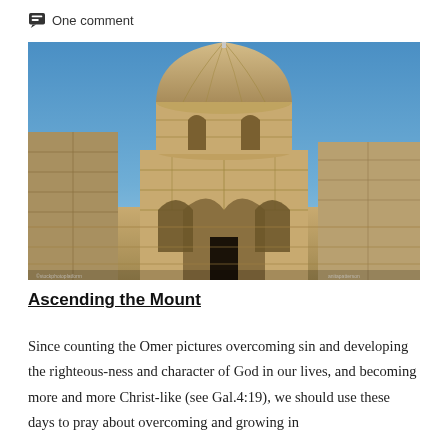One comment
[Figure (photo): A stone domed chapel or small church building on the Mount of Olives, Jerusalem, with arched doorways and windows, set against a clear blue sky with stone walls surrounding it.]
Ascending the Mount
Since counting the Omer pictures overcoming sin and developing the righteous-ness and character of God in our lives, and becoming more and more Christ-like (see Gal.4:19), we should use these days to pray about overcoming and growing in